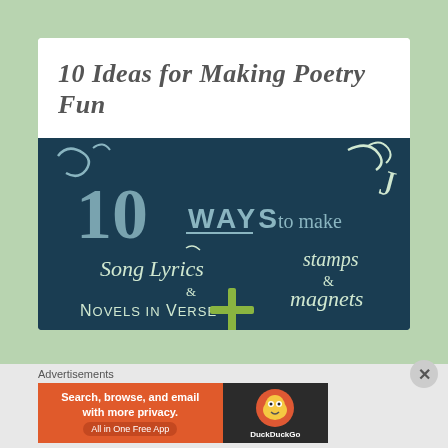10 Ideas for Making Poetry Fun
[Figure (illustration): Dark teal/navy chalkboard-style image with hand-lettered white and light green text reading '10 WAYS to make Song Lyrics & Novels in Verse stamps & magnets' with decorative lettering and a large plus sign]
Advertisements
[Figure (other): DuckDuckGo advertisement banner with orange background on left reading 'Search, browse, and email with more privacy. All in One Free App' and dark background on right with DuckDuckGo duck logo]